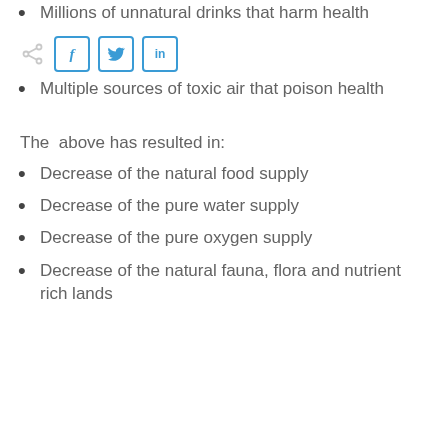Millions of unnatural drinks that harm health
[Figure (other): Social share icons row: share icon, Facebook (f), Twitter (bird), LinkedIn (in) buttons]
Multiple sources of toxic air that poison health
The above has resulted in:
Decrease of the natural food supply
Decrease of the pure water supply
Decrease of the pure oxygen supply
Decrease of the natural fauna, flora and nutrient rich lands